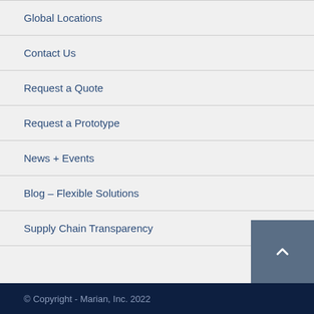Global Locations
Contact Us
Request a Quote
Request a Prototype
News + Events
Blog – Flexible Solutions
Supply Chain Transparency
© Copyright - Marian, Inc. 2022